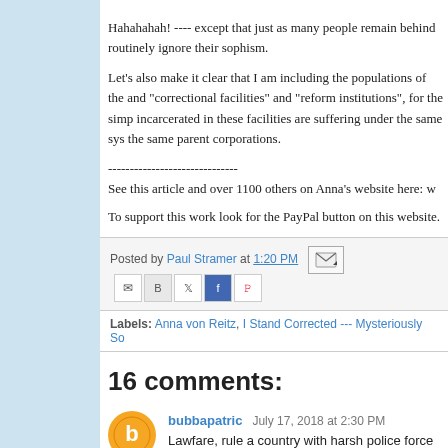Hahahahah! ---- except that just as many people remain behind routinely ignore their sophism.
Let's also make it clear that I am including the populations of the and "correctional facilities" and "reform institutions", for the simp incarcerated in these facilities are suffering under the same sys the same parent corporations.
------------------------------
See this article and over 1100 others on Anna's website here: w
To support this work look for the PayPal button on this website.
Posted by Paul Stramer at 1:20 PM
Labels: Anna von Reitz, I Stand Corrected --- Mysteriously So
16 comments:
bubbapatric  July 17, 2018 at 2:30 PM
Lawfare, rule a country with harsh police force the public re scared Ppl will not stop the fleecing .